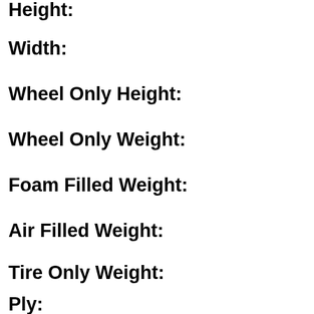Height:
Width:
Wheel Only Height:
Wheel Only Weight:
Foam Filled Weight:
Air Filled Weight:
Tire Only Weight:
Ply: